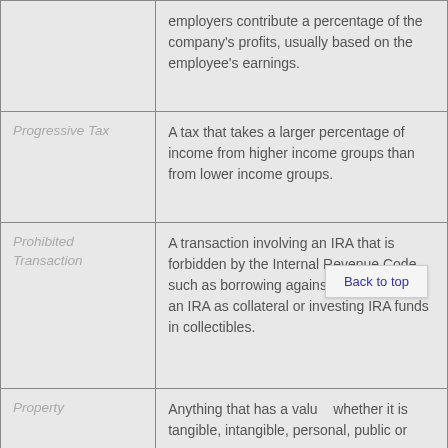| Term | Definition |
| --- | --- |
| [continued] | employers contribute a percentage of the company's profits, usually based on the employee's earnings. |
| Progressive Tax | A tax that takes a larger percentage of income from higher income groups than from lower income groups. |
| Prohibited Transaction | A transaction involving an IRA that is forbidden by the Internal Revenue Code, such as borrowing against an IRA, using an IRA as collateral or investing IRA funds in collectibles. |
| Property | Anything that has a value, whether it is tangible, intangible, personal, public or common. |
| Property Tax | A tax imposed upon the owner of real property. This type of tax is also known as a |